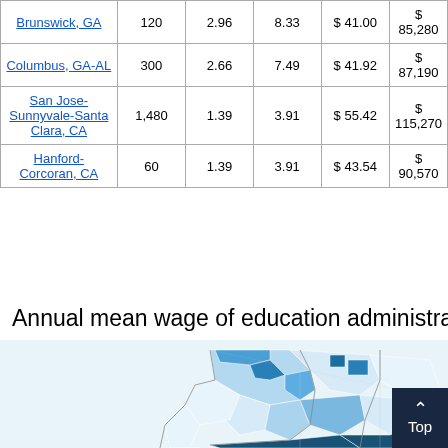| Brunswick, GA | 120 | 2.96 | 8.33 | $ 41.00 | $ 85,280 |
| Columbus, GA-AL | 300 | 2.66 | 7.49 | $ 41.92 | $ 87,190 |
| San Jose-Sunnyvale-Santa Clara, CA | 1,480 | 1.39 | 3.91 | $ 55.42 | $ 115,270 |
| Hanford-Corcoran, CA | 60 | 1.39 | 3.91 | $ 43.54 | $ 90,570 |
Annual mean wage of education administra...
[Figure (map): Choropleth map showing annual mean wage of education administrators by region, with shading from light to dark blue indicating wage levels. A 'Top' navigation button overlays the bottom-right corner.]